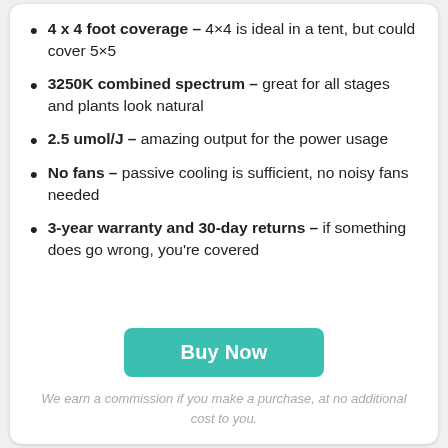4 x 4 foot coverage – 4×4 is ideal in a tent, but could cover 5×5
3250K combined spectrum – great for all stages and plants look natural
2.5 umol/J – amazing output for the power usage
No fans – passive cooling is sufficient, no noisy fans needed
3-year warranty and 30-day returns – if something does go wrong, you're covered
Buy Now
We earn a commission if you make a purchase, at no additional cost to you.